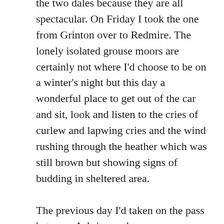the two dales because they are all spectacular. On Friday I took the one from Grinton over to Redmire. The lonely isolated grouse moors are certainly not where I'd choose to be on a winter's night but this day a wonderful place to get out of the car and sit, look and listen to the cries of curlew and lapwing cries and the wind rushing through the heather which was still brown but showing signs of budding in sheltered area. The previous day I'd taken on the pass between Askrigg and Muker/Gunnerside where I came face to face with a car on a 1 in 4, 45 degree bend. The other driver looked terrified so I reversed blindly, praying there was nothing following. Last year I took the Satron road –